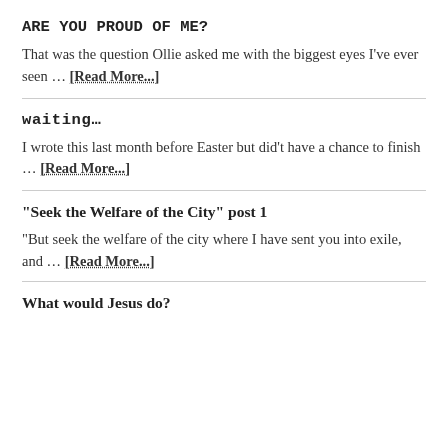ARE YOU PROUD OF ME?
That was the question Ollie asked me with the biggest eyes I've ever seen … [Read More...]
waiting…
I wrote this last month before Easter but did't have a chance to finish … [Read More...]
“Seek the Welfare of the City” post 1
“But seek the welfare of the city where I have sent you into exile, and … [Read More...]
What would Jesus do?